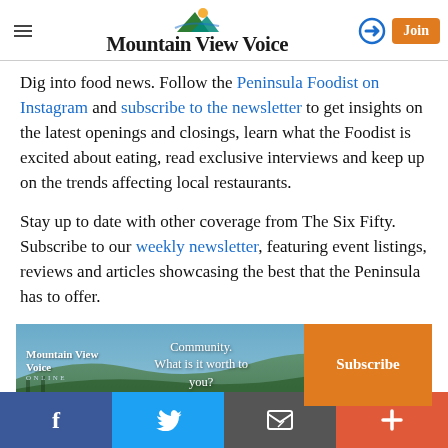Mountain View Voice
Dig into food news. Follow the Peninsula Foodist on Instagram and subscribe to the newsletter to get insights on the latest openings and closings, learn what the Foodist is excited about eating, read exclusive interviews and keep up on the trends affecting local restaurants.
Stay up to date with other coverage from The Six Fifty. Subscribe to our weekly newsletter, featuring event listings, reviews and articles showcasing the best that the Peninsula has to offer.
[Figure (screenshot): Mountain View Voice advertisement banner with landscape photo background, text 'Community. What is it worth to you?' and orange Subscribe button]
[Figure (infographic): Social media bottom bar with Facebook, Twitter, email, and plus buttons]